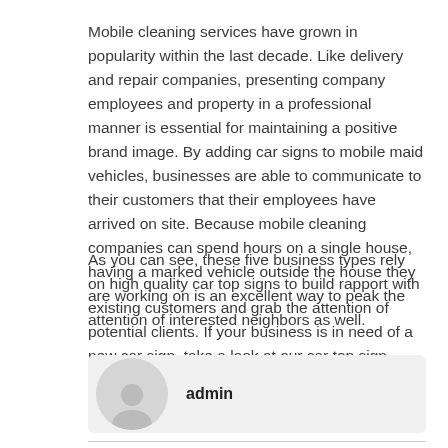Mobile cleaning services have grown in popularity within the last decade. Like delivery and repair companies, presenting company employees and property in a professional manner is essential for maintaining a positive brand image. By adding car signs to mobile maid vehicles, businesses are able to communicate to their customers that their employees have arrived on site. Because mobile cleaning companies can spend hours on a single house, having a marked vehicle outside the house they are working on is an excellent way to peak the attention of interested neighbors as well.
As you can see, these five business types rely on high quality car top signs to build rapport with existing customers and grab the attention of potential clients. If your business is in need of a new car sign, take a look at our car top sign options here.
admin